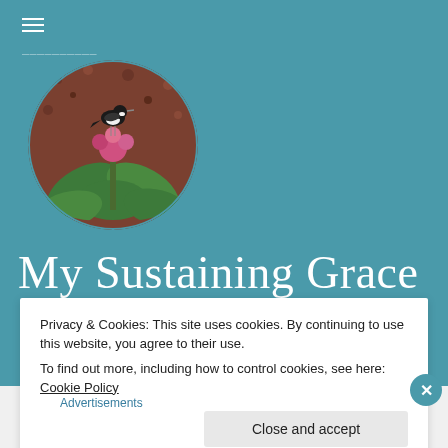[Figure (screenshot): Website header screenshot for 'My Sustaining Grace' blog with teal background, hamburger menu icon, circular logo image showing a bird on a flowering plant, site title in white serif font, and a cookie consent banner overlay with 'Close and accept' button.]
≡
[Figure (photo): Circular cropped photo of a small black and white bird perched on a pink flowering plant with green leaves against a reddish-brown soil background.]
My Sustaining Grace
Privacy & Cookies: This site uses cookies. By continuing to use this website, you agree to their use.
To find out more, including how to control cookies, see here: Cookie Policy
Close and accept
Advertisements